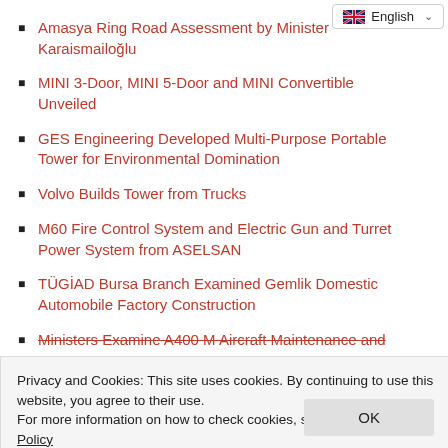[Figure (screenshot): Language selector dropdown showing English with flag and caret]
Amasya Ring Road Assessment by Minister Karaismailoğlu
MINI 3-Door, MINI 5-Door and MINI Convertible Unveiled
GES Engineering Developed Multi-Purpose Portable Tower for Environmental Domination
Volvo Builds Tower from Trucks
M60 Fire Control System and Electric Gun and Turret Power System from ASELSAN
TÜGİAD Bursa Branch Examined Gemlik Domestic Automobile Factory Construction
Ministers Examine A400 M Aircraft Maintenance and
Privacy and Cookies: This site uses cookies. By continuing to use this website, you agree to their use.
For more information on how to check cookies, see here: Cookie Policy
OIB Delegation Examined France's New Generation